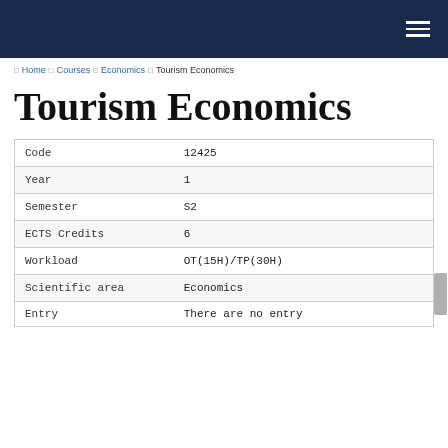Home > Courses > Economics > Tourism Economics
Tourism Economics
| Field | Value |
| --- | --- |
| Code | 12425 |
| Year | 1 |
| Semester | S2 |
| ECTS Credits | 6 |
| Workload | OT(15H)/TP(30H) |
| Scientific area | Economics |
| Entry | There are no entry |